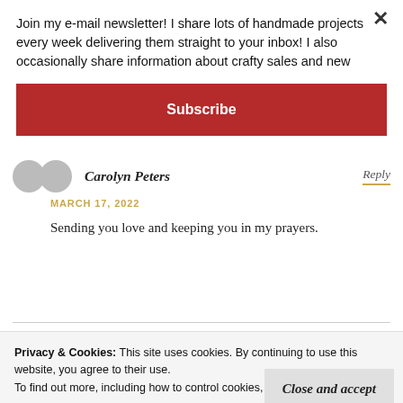Join my e-mail newsletter! I share lots of handmade projects every week delivering them straight to your inbox! I also occasionally share information about crafty sales and new
Subscribe
Carolyn Peters
Reply
MARCH 17, 2022
Sending you love and keeping you in my prayers.
Privacy & Cookies: This site uses cookies. By continuing to use this website, you agree to their use.
To find out more, including how to control cookies, see here: Cookie Policy
Close and accept
stamp sets and never used thanks for